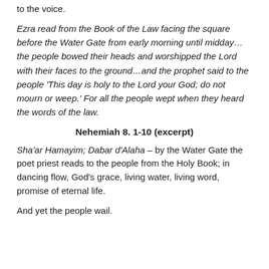to the voice.
Ezra read from the Book of the Law facing the square before the Water Gate from early morning until midday… the people bowed their heads and worshipped the Lord with their faces to the ground…and the prophet said to the people 'This day is holy to the Lord your God; do not mourn or weep.' For all the people wept when they heard the words of the law.
Nehemiah 8. 1-10 (excerpt)
Sha'ar Hamayim; Dabar d'Alaha – by the Water Gate the poet priest reads to the people from the Holy Book; in dancing flow, God's grace, living water, living word, promise of eternal life.
And yet the people wail.